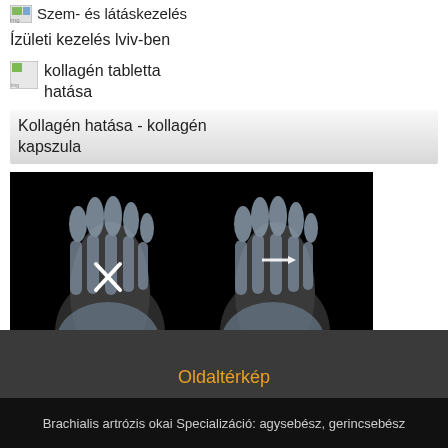[Figure (illustration): Small icon placeholder for eye/vision treatment link]
Ízületi kezelés lviv-ben
[Figure (illustration): Small thumbnail image placeholder for collagen tablets]
kollagén tabletta hatása
Kollagén hatása - kollagén kapszula
[Figure (photo): X-ray image of two feet showing bone structure, with an X mark on one foot]
Mtp joint osteoarthritis icd
A térd 1. fokú artrózisának kezelése
Oldaltérkép
Brachialis artrózis okai Specializáció: agysebész, gerincsebész